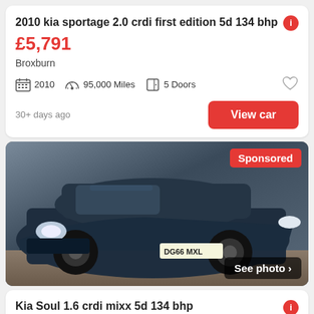2010 kia sportage 2.0 crdi first edition 5d 134 bhp
£5,791
Broxburn
2010   95,000 Miles   5 Doors
30+ days ago
View car
[Figure (photo): Dark blue Kia Soul SUV parked indoors, front three-quarter view, registration plate DG66 MXL. Sponsored badge top right, 'See photo >' overlay bottom right.]
Sponsored
See photo >
Kia Soul 1.6 crdi mixx 5d 134 bhp
£8,995